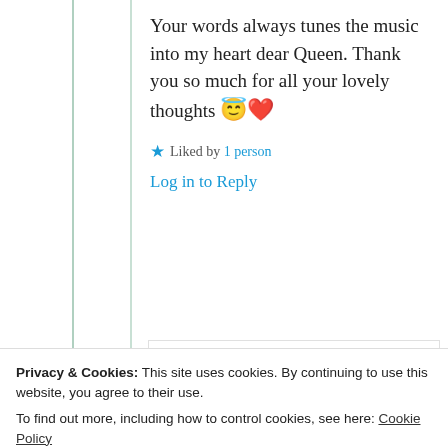Your words always tunes the music into my heart dear Queen. Thank you so much for all your lovely thoughts 😇❤️
★ Liked by 1 person
Log in to Reply
Cindy
Privacy & Cookies: This site uses cookies. By continuing to use this website, you agree to their use. To find out more, including how to control cookies, see here: Cookie Policy
Close and accept
Oh much deserved my